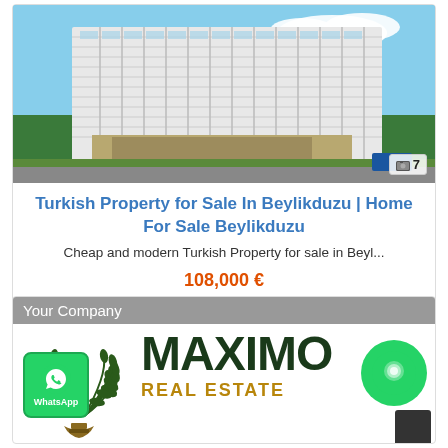[Figure (photo): Modern high-rise residential building with glass facade and blue sky background, architectural rendering]
Turkish Property for Sale In Beylikduzu | Home For Sale Beylikduzu
Cheap and modern Turkish Property for sale in Beyl...
108,000 €
Your Company
[Figure (logo): Maximo Real Estate logo with laurel wreath emblem, WhatsApp button, and chat button]